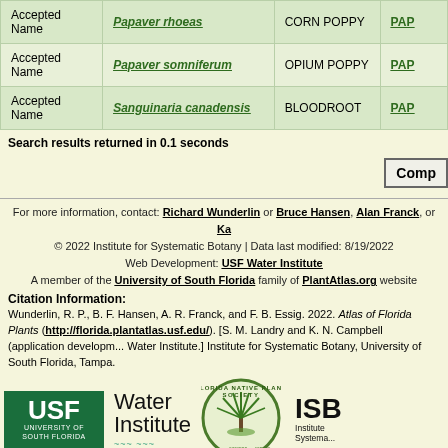|  | Accepted Name | Species | Common Name | Family |
| --- | --- | --- | --- | --- |
| Accepted Name | Papaver rhoeas | CORN POPPY | PAP... |
| Accepted Name | Papaver somniferum | OPIUM POPPY | PAP... |
| Accepted Name | Sanguinaria canadensis | BLOODROOT | PAP... |
Search results returned in 0.1 seconds
Comp...
For more information, contact: Richard Wunderlin or Bruce Hansen, Alan Franck, or Ka...
© 2022 Institute for Systematic Botany | Data last modified: 8/19/2022
Web Development: USF Water Institute
A member of the University of South Florida family of PlantAtlas.org website...
Citation Information:
Wunderlin, R. P., B. F. Hansen, A. R. Franck, and F. B. Essig. 2022. Atlas of Florida Plants (http://florida.plantatlas.usf.edu/). [S. M. Landry and K. N. Campbell (application development), Water Institute.] Institute for Systematic Botany, University of South Florida, Tampa.
[Figure (logo): USF University of South Florida logo (green background with white USF text)]
[Figure (logo): USF Water Institute logo with wave]
[Figure (logo): Florida Native Plant Society circular logo with Serenoa repens]
[Figure (logo): ISB Institute for Systematic Botany logo]